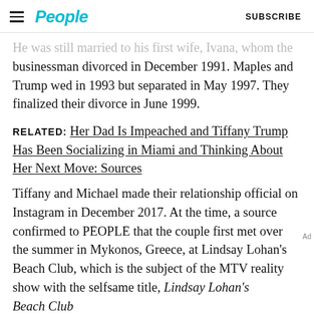People  SUBSCRIBE
He was still married to his first wife, Ivana, whom the businessman divorced in December 1991. Maples and Trump wed in 1993 but separated in May 1997. They finalized their divorce in June 1999.
RELATED: Her Dad Is Impeached and Tiffany Trump Has Been Socializing in Miami and Thinking About Her Next Move: Sources
Tiffany and Michael made their relationship official on Instagram in December 2017. At the time, a source confirmed to PEOPLE that the couple first met over the summer in Mykonos, Greece, at Lindsay Lohan’s Beach Club, which is the subject of the MTV reality show with the selfsame title, Lindsay Lohan’s Beach Club